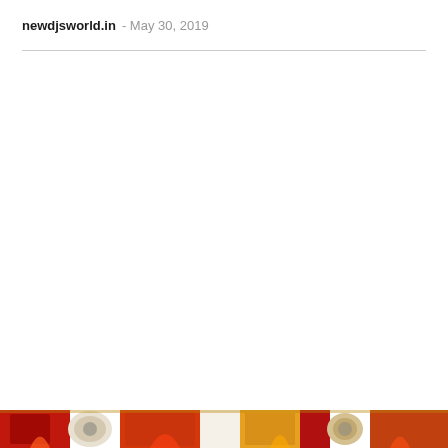newdjsworld.in - May 30, 2019
[Figure (photo): Colorful decorative image strip at the bottom of the page with red, orange, yellow, and gold tones, partially visible]